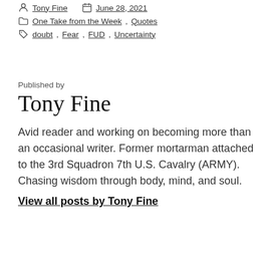Tony Fine  |  June 28, 2021
One Take from the Week, Quotes
doubt, Fear, FUD, Uncertainty
Published by
Tony Fine
Avid reader and working on becoming more than an occasional writer. Former mortarman attached to the 3rd Squadron 7th U.S. Cavalry (ARMY). Chasing wisdom through body, mind, and soul.
View all posts by Tony Fine